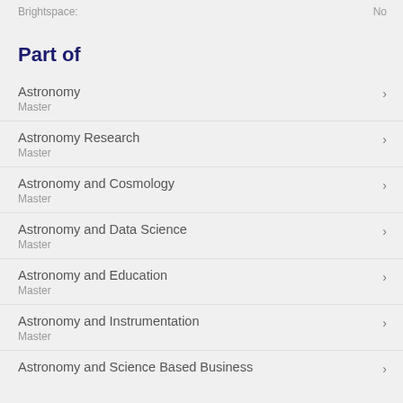Brightspace: No
Part of
Astronomy
Master
Astronomy Research
Master
Astronomy and Cosmology
Master
Astronomy and Data Science
Master
Astronomy and Education
Master
Astronomy and Instrumentation
Master
Astronomy and Science Based Business